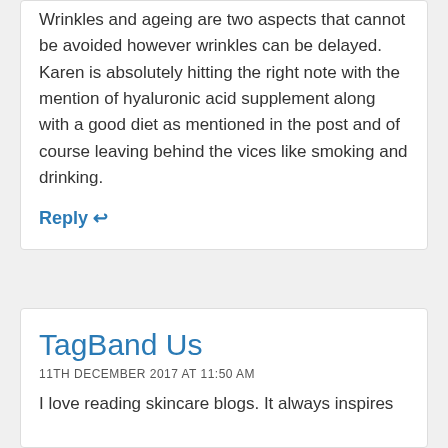Wrinkles and ageing are two aspects that cannot be avoided however wrinkles can be delayed. Karen is absolutely hitting the right note with the mention of hyaluronic acid supplement along with a good diet as mentioned in the post and of course leaving behind the vices like smoking and drinking.
Reply ↩
TagBand Us
11TH DECEMBER 2017 AT 11:50 AM
I love reading skincare blogs. It always inspires